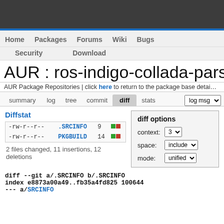Home   Packages   Forums   Wiki   Bugs
Security   Download
AUR : ros-indigo-collada-pars
AUR Package Repositories | click here to return to the package base detail
summary   log   tree   commit   diff   stats   log msg
Diffstat
-rw-r--r-- .SRCINFO 9
-rw-r--r-- PKGBUILD 14
2 files changed, 11 insertions, 12 deletions
diff options
context: 3
space: include
mode: unified
diff --git a/.SRCINFO b/.SRCINFO
index e8873a00a49..fb35a4fd825 100644
--- a/.SRCINFO